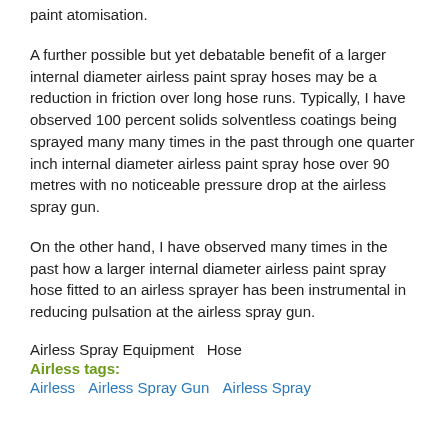paint atomisation.
A further possible but yet debatable benefit of a larger internal diameter airless paint spray hoses may be a reduction in friction over long hose runs. Typically, I have observed 100 percent solids solventless coatings being sprayed many many times in the past through one quarter inch internal diameter airless paint spray hose over 90 metres with no noticeable pressure drop at the airless spray gun.
On the other hand, I have observed many times in the past how a larger internal diameter airless paint spray hose fitted to an airless sprayer has been instrumental in reducing pulsation at the airless spray gun.
Airless Spray Equipment   Hose
Airless tags:
Airless   Airless Spray Gun   Airless Spray